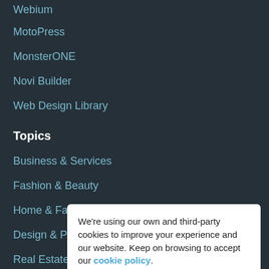Webium
MotoPress
MonsterONE
Novi Builder
Web Design Library
Topics
Business & Services
Fashion & Beauty
Home & Family
Design & Photography
Real Estate
Cars
Medicine
Sports, Outdoors & Travel
Food & Restaurant
Electronics
We're using our own and third-party cookies to improve your experience and our website. Keep on browsing to accept our cookie policy.
Accept